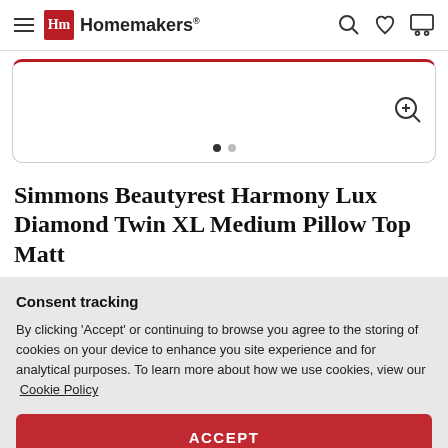Homemakers
[Figure (screenshot): Product image viewer with red top border, two navigation dots (one filled, one empty), and a zoom button in the bottom right]
Simmons Beautyrest Harmony Lux Diamond Twin XL Medium Pillow Top Matt
Consent tracking
By clicking 'Accept' or continuing to browse you agree to the storing of cookies on your device to enhance you site experience and for analytical purposes. To learn more about how we use cookies, view our  Cookie Policy
ACCEPT